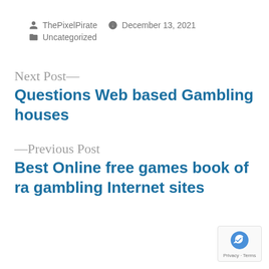ThePixelPirate   December 13, 2021   Uncategorized
Next Post—
Questions Web based Gambling houses
—Previous Post
Best Online free games book of ra gambling Internet sites